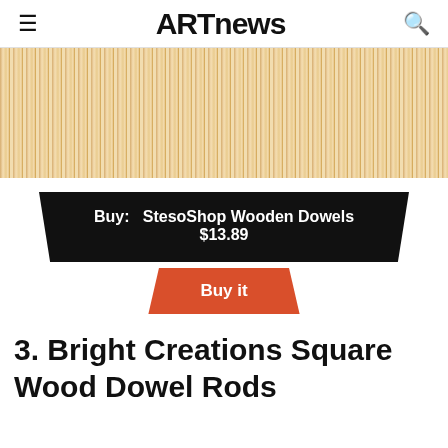ARTnews
[Figure (photo): Close-up photograph of multiple wooden dowel rods arranged vertically side by side, showing natural wood grain and light tan color.]
Buy:  StesoShop Wooden Dowels
$13.89
Buy it
3. Bright Creations Square Wood Dowel Rods